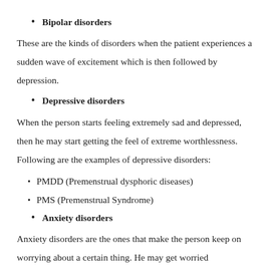Bipolar disorders
These are the kinds of disorders when the patient experiences a sudden wave of excitement which is then followed by depression.
Depressive disorders
When the person starts feeling extremely sad and depressed, then he may start getting the feel of extreme worthlessness. Following are the examples of depressive disorders:
PMDD (Premenstrual dysphoric diseases)
PMS (Premenstrual Syndrome)
Anxiety disorders
Anxiety disorders are the ones that make the person keep on worrying about a certain thing. He may get worried